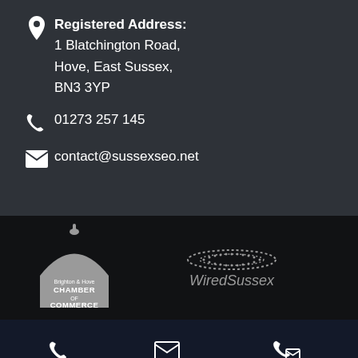Registered Address: 1 Blatchington Road, Hove, East Sussex, BN3 3YP
01273 257 145
contact@sussexseo.net
[Figure (logo): Brighton & Hove Chamber of Commerce logo - dome-shaped building icon in gray with text]
[Figure (logo): WiredSussex logo - dotted oval graphic with WiredSussex text below]
CALL
EMAIL
CONTACT